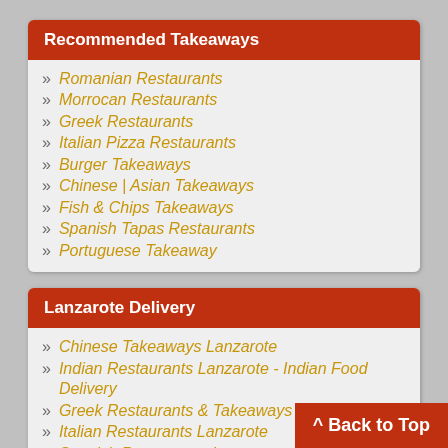Recommended Takeaways
Romanian Restaurants
Morrocan Restaurants
Greek Restaurants
Italian Pizza Restaurants
Burger Takeaways
Chinese | Asian Takeaways
Fish & Chips Takeaways
Spanish Tapas Restaurants
Portuguese Takeaway
Lanzarote Delivery
Chinese Takeaways Lanzarote
Indian Restaurants Lanzarote - Indian Food Delivery
Greek Restaurants & Takeaways Lanzarote
Italian Restaurants Lanzarote
Spanish Restaurants Lanzarote
Restaurants Tias & Takeaways Tias
Restaurants Arrecife - Takeaways Arrecife